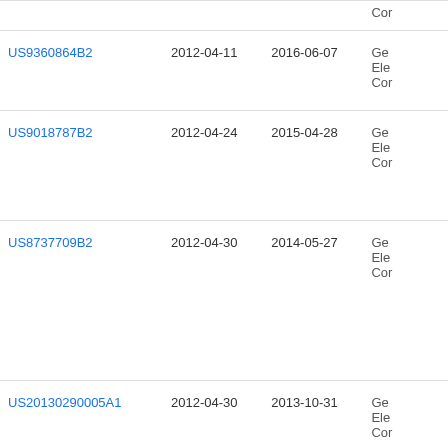| Patent | Filed | Publication date | Assignee |
| --- | --- | --- | --- |
| US9360864B2 | 2012-04-11 | 2016-06-07 | Ge
Ele
Cor |
| US9018787B2 | 2012-04-24 | 2015-04-28 | Ge
Ele
Cor |
| US8737709B2 | 2012-04-30 | 2014-05-27 | Ge
Ele
Cor |
| US20130290005A1 | 2012-04-30 | 2013-10-31 | Ge
Ele
Cor |